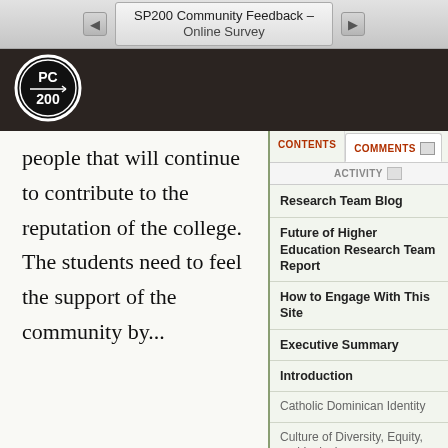SP200 Community Feedback – Online Survey
[Figure (logo): PC200 circular logo with white text on black background]
people that will continue to contribute to the reputation of the college. The students need to feel the support of the community by...
CONTENTS
COMMENTS
ACTIVITY
Research Team Blog
Future of Higher Education Research Team Report
How to Engage With This Site
Executive Summary
Introduction
Catholic Dominican Identity
Culture of Diversity, Equity, and Inclusion
Student Development